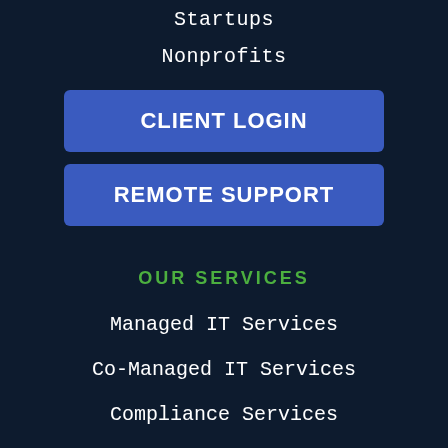Startups
Nonprofits
CLIENT LOGIN
REMOTE SUPPORT
OUR SERVICES
Managed IT Services
Co-Managed IT Services
Compliance Services
Compliance Manager